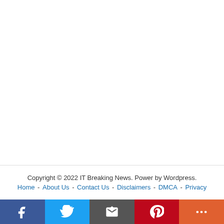Copyright © 2022 IT Breaking News. Power by Wordpress.
Home - About Us - Contact Us - Disclaimers - DMCA - Privacy
[Figure (other): Social media share bar with Facebook, Twitter, Email, Pinterest, and More buttons]